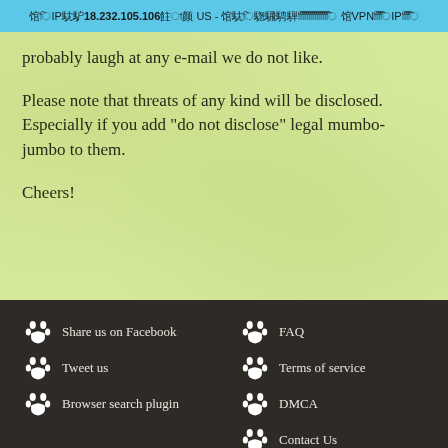আপনার IP হল 18.232.105.106 এবং US - আপনার অবস্থান লুকাতে VPN ব্যবহার করুন IP লুকান
probably laugh at any e-mail we do not like.
Please note that threats of any kind will be disclosed. Especially if you add "do not disclose" legal mumbo-jumbo to them.
Cheers!
Share us on Facebook
Tweet us
Browser search plugin
FAQ
Terms of service
DMCA
Contact Us
About.me